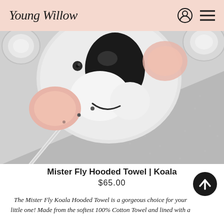Young Willow
[Figure (photo): Close-up photo of a grey koala-themed hooded baby towel. The hood shows a koala face with a large black nose, pink cheeks, dark eyes, and round ears. The towel is grey terrycloth with a diagonal white/grey stripe seam visible.]
Mister Fly Hooded Towel | Koala
$65.00
The Mister Fly Koala Hooded Towel is a gorgeous choice for your little one! Made from the softest 100% Cotton Towel and lined with a